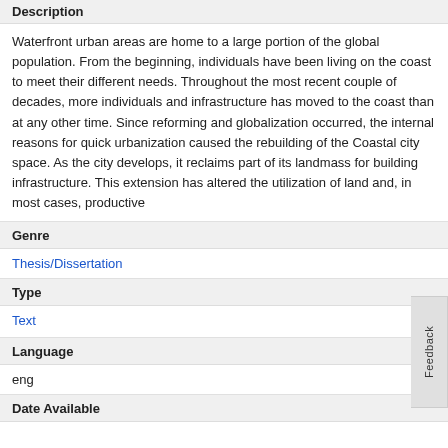Description
Waterfront urban areas are home to a large portion of the global population. From the beginning, individuals have been living on the coast to meet their different needs. Throughout the most recent couple of decades, more individuals and infrastructure has moved to the coast than at any other time. Since reforming and globalization occurred, the internal reasons for quick urbanization caused the rebuilding of the Coastal city space. As the city develops, it reclaims part of its landmass for building infrastructure. This extension has altered the utilization of land and, in most cases, productive
Genre
Thesis/Dissertation
Type
Text
Language
eng
Date Available